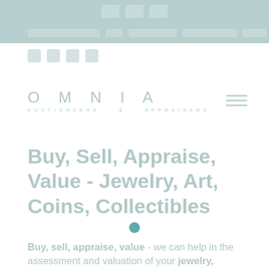[Figure (other): Top navigation bar with social/contact icons on teal/muted background]
[Figure (logo): Omnia Auctioneers & Appraisers logo in light teal text]
Buy, Sell, Appraise, Value - Jewelry, Art, Coins, Collectibles
Buy, sell, appraise, value - we can help in the assessment and valuation of your jewelry, diamonds, watches, sterling silver, gold, coins, currency, art & paintings, glass, porcelain, statuary & bronzes, objects of art, Chinese & Asian antiques, jade, autographs, documents, collectibles, antiques, Americana, Florida Paintings - Highwaymen & Indian River School, specialty & estate collections